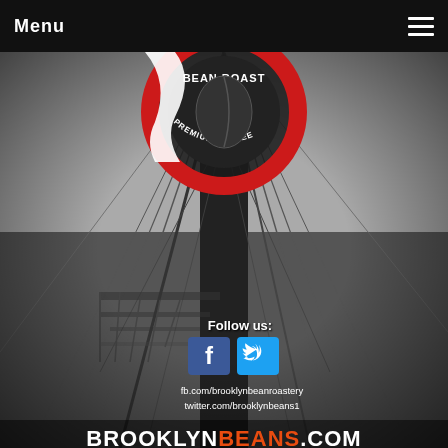Menu
[Figure (photo): Brooklyn Bean Roastery premium coffee brand logo and Brooklyn Bridge background photo in black and white. Shows partial circular logo with 'BEAN ROAST' and 'PREMIUM COFFEE' text visible, over a moody bridge cable photo.]
Follow us:
[Figure (logo): Facebook and Twitter social media icons side by side]
fb.com/brooklynbeanroastery
twitter.com/brooklynbeans1
BROOKLYNBEANS.COM